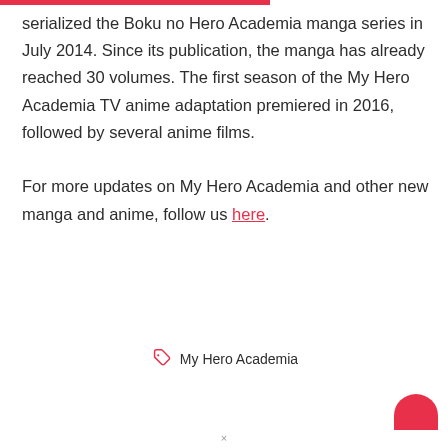serialized the Boku no Hero Academia manga series in July 2014. Since its publication, the manga has already reached 30 volumes. The first season of the My Hero Academia TV anime adaptation premiered in 2016, followed by several anime films.

For more updates on My Hero Academia and other new manga and anime, follow us here.
My Hero Academia